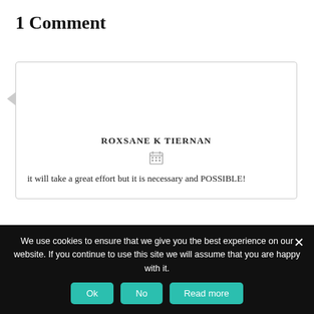1 Comment
ROXSANE K TIERNAN
[calendar icon]
it will take a great effort but it is necessary and POSSIBLE!
We use cookies to ensure that we give you the best experience on our website. If you continue to use this site we will assume that you are happy with it.